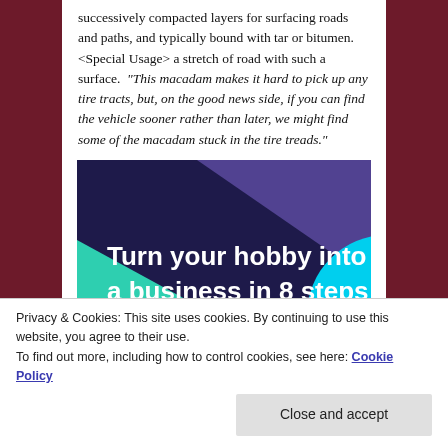successively compacted layers for surfacing roads and paths, and typically bound with tar or bitumen. <Special Usage> a stretch of road with such a surface.  "This macadam makes it hard to pick up any tire tracts, but, on the good news side, if you can find the vehicle sooner rather than later, we might find some of the macadam stuck in the tire treads."
[Figure (illustration): Advertisement banner with dark purple background, teal triangle shape on left, light blue circle segment on right, and white bold text reading 'Turn your hobby into a business in 8 steps']
Privacy & Cookies: This site uses cookies. By continuing to use this website, you agree to their use.
To find out more, including how to control cookies, see here: Cookie Policy